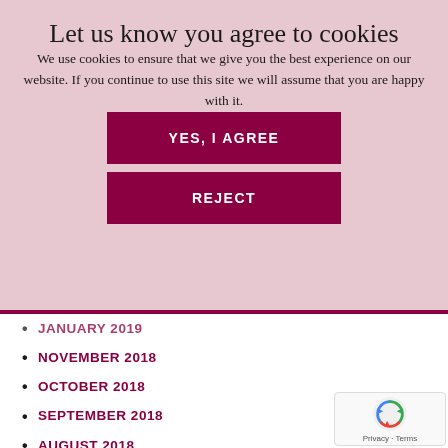Let us know you agree to cookies
We use cookies to ensure that we give you the best experience on our website. If you continue to use this site we will assume that you are happy with it.
YES, I AGREE
REJECT
JANUARY 2019
NOVEMBER 2018
OCTOBER 2018
SEPTEMBER 2018
AUGUST 2018
JULY 2018
JUNE 2018
MAY 2018
APRIL 2018